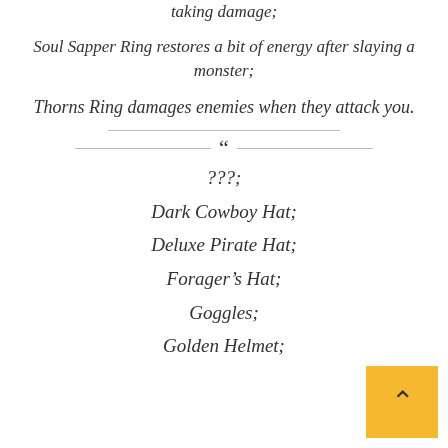taking damage;
Soul Sapper Ring restores a bit of energy after slaying a monster;
Thorns Ring damages enemies when they attack you.
“
???;
Dark Cowboy Hat;
Deluxe Pirate Hat;
Forager’s Hat;
Goggles;
Golden Helmet;